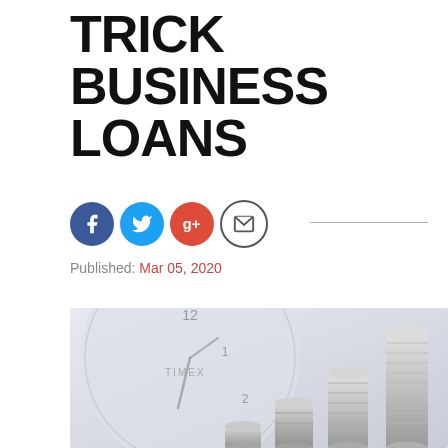TRICK BUSINESS LOANS
[Figure (illustration): Social media share icons: Facebook (blue circle), Twitter (blue circle), Google+ (red circle), Email (circle with envelope outline)]
Published: Mar 05, 2020
[Figure (photo): Photo of stacked silver coins growing in height like a bar chart, with a Timex alarm clock in the background, suggesting financial growth over time]